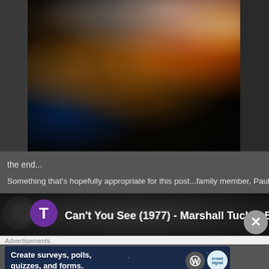[Figure (photo): A dog sleeping on a dark leather couch, wrapped in a blanket, with a fireplace glowing in the background. The scene is warmly lit with orange firelight on the right and blue ambient light on the left.]
the end...
Something that's hopefully appropriate for this post...family member, Paul Ric
[Figure (screenshot): YouTube video player bar showing a purple 'T' icon and the video title 'Can't You See (1977) - Marshall Tucker Band' with a close (X) button overlay]
Advertisements
[Figure (screenshot): Advertisement banner with dark blue starry background reading 'Create surveys, polls, quizzes, and forms.' with WordPress and Crowdsignal logos]